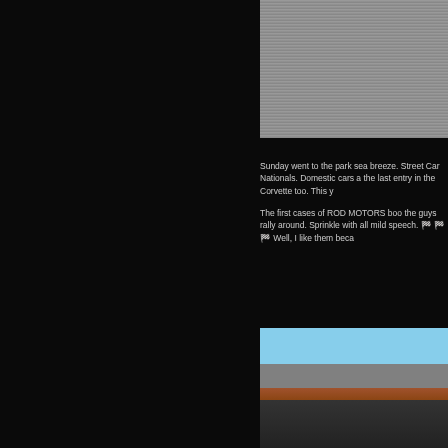[Figure (photo): Top photo showing asphalt/pavement surface with partial view of a car and a person's leg/foot]
Sunday went to the park sea breeze. Street Car Nationals. Domestic cars a the last entry in the Corvette too. This y
The first cases of ROD MOTORS boo the guys rally around. Sprinkle with all mild speech. 🏁 🏁 🏁 Well, I like them beca
[Figure (photo): Bottom photo showing a crowd of people at an outdoor event with smoke/burnout, overcast sky and bridge in background]